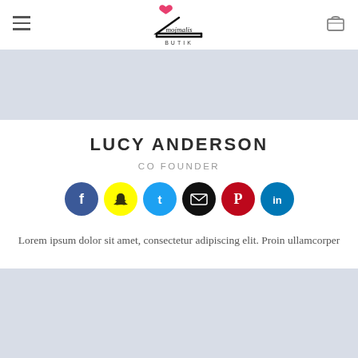mojmalis BUTIK
[Figure (photo): Light blue-gray hero banner placeholder image at the top of the page]
LUCY ANDERSON
CO FOUNDER
[Figure (infographic): Row of six social media icon circles: Facebook (blue), Snapchat (yellow), Twitter (cyan-blue), Email (black), Pinterest (red), LinkedIn (blue)]
Lorem ipsum dolor sit amet, consectetur adipiscing elit. Proin ullamcorper
[Figure (photo): Light blue-gray banner placeholder image at the bottom of the page]